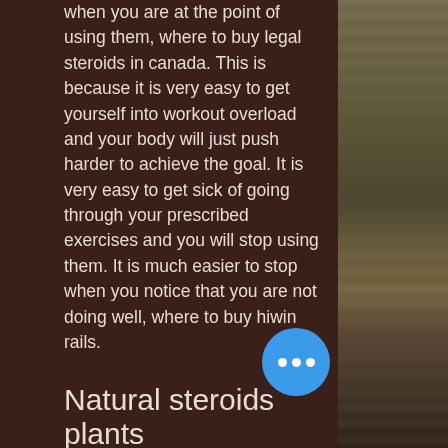when you are at the point of using them, where to buy legal steroids in canada. This is because it is very easy to get yourself into workout overload and your body will just push harder to achieve the goal. It is very easy to get sick of going through your prescribed exercises and you will stop using them. It is much easier to stop when you notice that you are not doing well, where to buy hiwin rails.
Natural steroids plants
Together we analyze both traditional anabolic steroids and the new generation of sophisticated legal natural steroids to get a global view of what steroids are and what is on offer by them. We discover a huge diversity of illegal drug suppliers, but w common trend as they supply high quali
[Figure (photo): Decorative photo showing curtains and a chair/sofa in warm tones on the right side of the page]